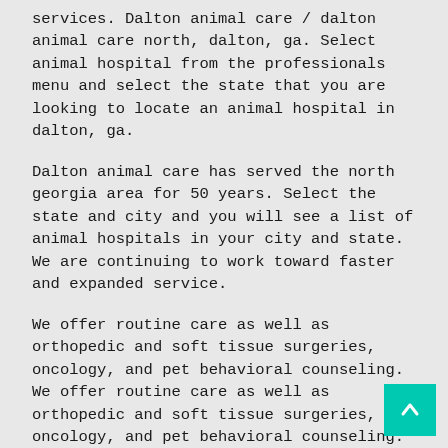services. Dalton animal care / dalton animal care north, dalton, ga. Select animal hospital from the professionals menu and select the state that you are looking to locate an animal hospital in dalton, ga.
Dalton animal care has served the north georgia area for 50 years. Select the state and city and you will see a list of animal hospitals in your city and state. We are continuing to work toward faster and expanded service.
We offer routine care as well as orthopedic and soft tissue surgeries, oncology, and pet behavioral counseling. We offer routine care as well as orthopedic and soft tissue surgeries, oncology, and pet behavioral counseling. The staff of dalton animal care is wholly committed to providing the most.
To learn more, or to make an appointment with dalton animal care in dalton, ga, please call (706. Dalton animal care has served the north georgia area for 50 years. My mom has taken our siamese to this vet with every problem he has ever h
We offer routine care as well as orthopedic and soft ti...